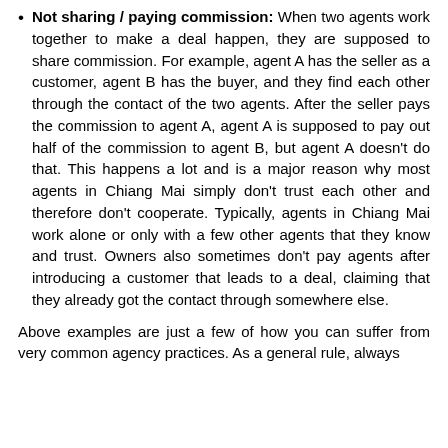Not sharing / paying commission: When two agents work together to make a deal happen, they are supposed to share commission. For example, agent A has the seller as a customer, agent B has the buyer, and they find each other through the contact of the two agents. After the seller pays the commission to agent A, agent A is supposed to pay out half of the commission to agent B, but agent A doesn't do that. This happens a lot and is a major reason why most agents in Chiang Mai simply don't trust each other and therefore don't cooperate. Typically, agents in Chiang Mai work alone or only with a few other agents that they know and trust. Owners also sometimes don't pay agents after introducing a customer that leads to a deal, claiming that they already got the contact through somewhere else.
Above examples are just a few of how you can suffer from very common agency practices. As a general rule, always